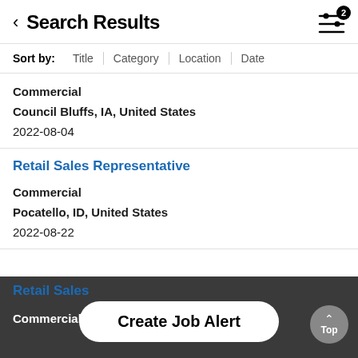Search Results
Sort by: Title | Category | Location | Date
Commercial
Council Bluffs, IA, United States
2022-08-04
Retail Sales Representative
Commercial
Pocatello, ID, United States
2022-08-22
Retail Sales
Commercial
Create Job Alert